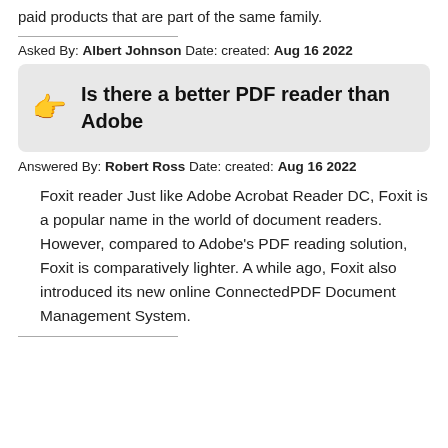paid products that are part of the same family.
Asked By: Albert Johnson Date: created: Aug 16 2022
Is there a better PDF reader than Adobe
Answered By: Robert Ross Date: created: Aug 16 2022
Foxit reader Just like Adobe Acrobat Reader DC, Foxit is a popular name in the world of document readers. However, compared to Adobe's PDF reading solution, Foxit is comparatively lighter. A while ago, Foxit also introduced its new online ConnectedPDF Document Management System.